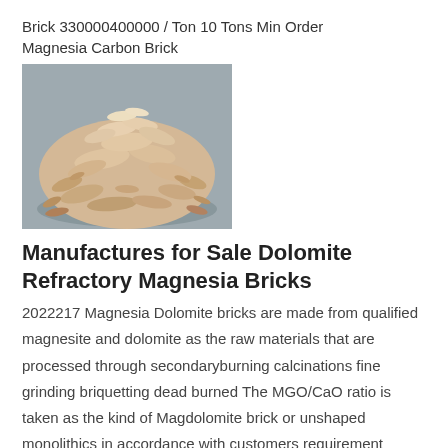Brick 330000400000 / Ton 10 Tons Min Order
Magnesia Carbon Brick
[Figure (photo): A pile of crushed off-white/beige mineral material (dolomite or magnesia), showing flat chip-like fragments on a grey surface.]
Manufactures for Sale Dolomite Refractory Magnesia Bricks
2022217 Magnesia Dolomite bricks are made from qualified magnesite and dolomite as the raw materials that are processed through secondaryburning calcinations fine grinding briquetting dead burned The MGO/CaO ratio is taken as the kind of Magdolomite brick or unshaped monolithics in accordance with customers requirement